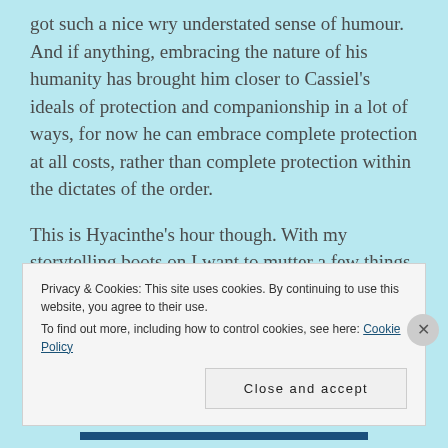got such a nice wry understated sense of humour. And if anything, embracing the nature of his humanity has brought him closer to Cassiel's ideals of protection and companionship in a lot of ways, for now he can embrace complete protection at all costs, rather than complete protection within the dictates of the order.
This is Hyacinthe's hour though. With my storytelling boots on I want to mutter a few things about the arc in terms of evenness and foreshadowing and relevancy, but I guess this book has a lot to say and this is Hyacinthe's moment to show what he'll sacrifice and endure for his friends. I'm not sure this is a change in
Privacy & Cookies: This site uses cookies. By continuing to use this website, you agree to their use.
To find out more, including how to control cookies, see here: Cookie Policy
Close and accept